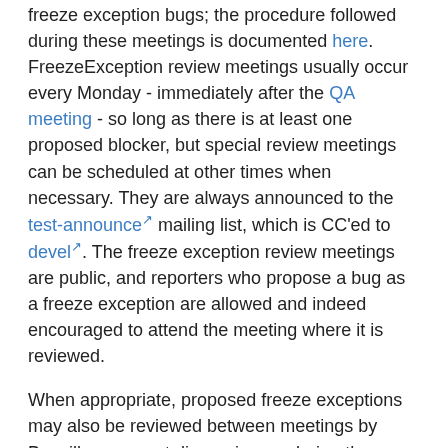freeze exception bugs; the procedure followed during these meetings is documented here. FreezeException review meetings usually occur every Monday - immediately after the QA meeting - so long as there is at least one proposed blocker, but special review meetings can be scheduled at other times when necessary. They are always announced to the test-announce mailing list, which is CC'ed to devel. The freeze exception review meetings are public, and reporters who propose a bug as a freeze exception are allowed and indeed encouraged to attend the meeting where it is reviewed.
When appropriate, proposed freeze exceptions may also be reviewed between meetings by Bugzilla comment discussion, or during the engineering readiness meeting (also known as a go/no-go meeting) which is convened to decide whether a release candidate should be approved as a final release. In these cases, consensus between the three stakeholder groups should still be reached in order to accept or reject a bug as a freeze exception. However, review should not be done as part of QA meetings. If freeze exception review is required or desirable at the time of a QA meeting, a proper freeze exception bug review meeting should be convened